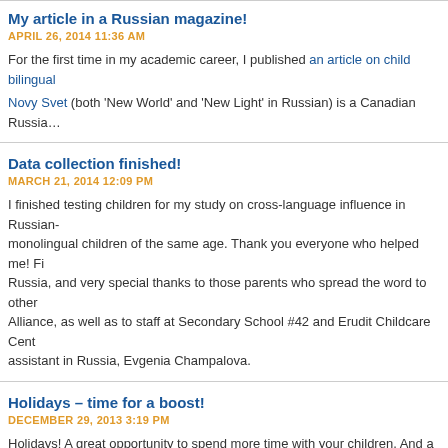My article in a Russian magazine!
APRIL 26, 2014 11:36 AM
For the first time in my academic career, I published an article on child bilingual Novy Svet (both 'New World' and 'New Light' in Russian) is a Canadian Russia…
Data collection finished!
MARCH 21, 2014 12:09 PM
I finished testing children for my study on cross-language influence in Russian- monolingual children of the same age. Thank you everyone who helped me! Fi Russia, and very special thanks to those parents who spread the word to other Alliance, as well as to staff at Secondary School #42 and Erudit Childcare Cent assistant in Russia, Evgenia Champalova.
Holidays – time for a boost!
DECEMBER 29, 2013 3:19 PM
Holidays! A great opportunity to spend more time with your children. And a grea spend more time with them, speaking the family language, will help a lot. But to
First, keep speaking your family language! I mean, 100% your family language!